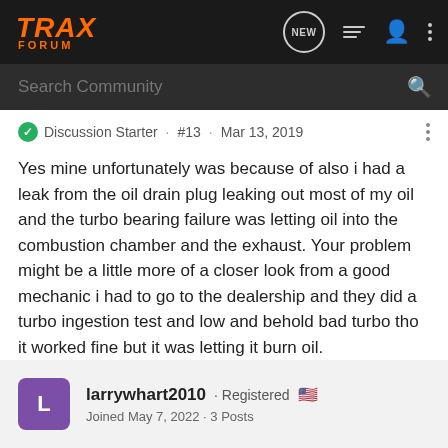[Figure (screenshot): Trax Forum navigation bar with logo, search bar, and icons]
Discussion Starter · #13 · Mar 13, 2019
Yes mine unfortunately was because of also i had a leak from the oil drain plug leaking out most of my oil and the turbo bearing failure was letting oil into the combustion chamber and the exhaust. Your problem might be a little more of a closer look from a good mechanic i had to go to the dealership and they did a turbo ingestion test and low and behold bad turbo tho it worked fine but it was letting it burn oil.
larrywhart2010 · Registered 🇺🇸
Joined May 7, 2022 · 3 Posts